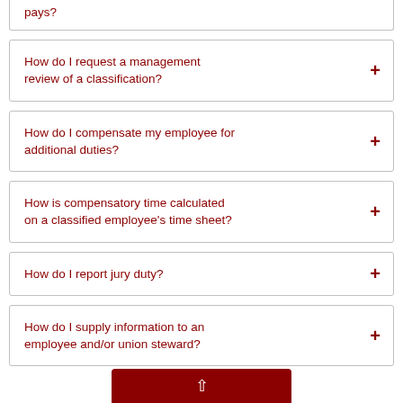pays?
How do I request a management review of a classification?
How do I compensate my employee for additional duties?
How is compensatory time calculated on a classified employee's time sheet?
How do I report jury duty?
How do I supply information to an employee and/or union steward?